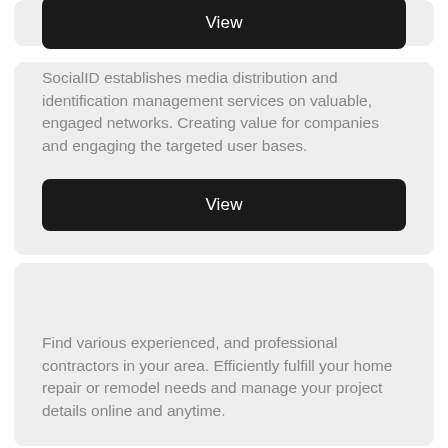View
SocialID establishes media distribution and identification management services on valuable, engaged networks. Creating value for companies and engaging the targeted user bases.
View
Find various experienced, and professional contractors in your area. Efficiently fulfill your home repair or remodel needs and manage your project details online and anytime.